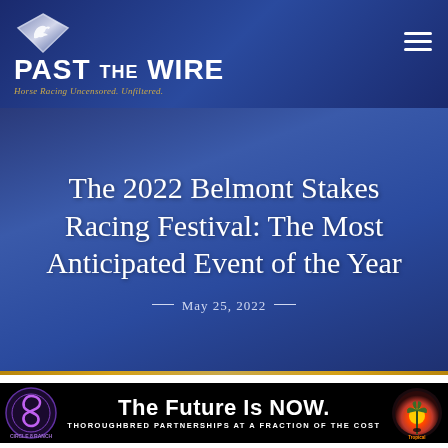PAST THE WIRE — Horse Racing Uncensored. Unfiltered.
The 2022 Belmont Stakes Racing Festival: The Most Anticipated Event of the Year
May 25, 2022
[Figure (infographic): Advertisement banner: 'The Future Is NOW. THOROUGHBRED PARTNERSHIPS AT A FRACTION OF THE COST' with Circle 8 Ranch logo on left and Tropical Racing logo on right, white text on black background]